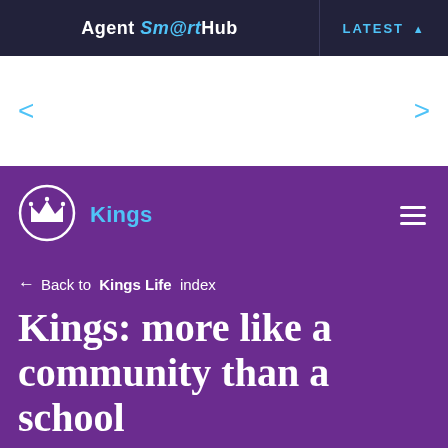Agent SmartHub | LATEST ▲
[Figure (other): White carousel section with left and right navigation arrows in cyan]
[Figure (logo): Kings school crown logo — white crown in white circle outline on purple background — with brand name 'Kings' in cyan text]
← Back to Kings Life index
Kings: more like a community than a school